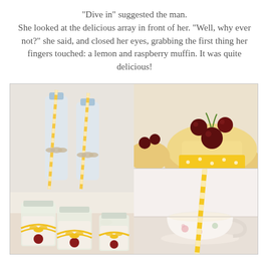"Dive in" suggested the man. She looked at the delicious array in front of her. "Well, why ever not?" she said, and closed her eyes, grabbing the first thing her fingers touched: a lemon and raspberry muffin. It was quite delicious!
[Figure (photo): Collage of three food/drink photos: left large photo showing mason jars with yellow ribbon bows and water bottles with yellow and white striped straws; top right photo showing muffins topped with dark cherries in yellow polka dot cupcake liners; bottom right photo showing a yellow and white striped straw in a floral teacup.]